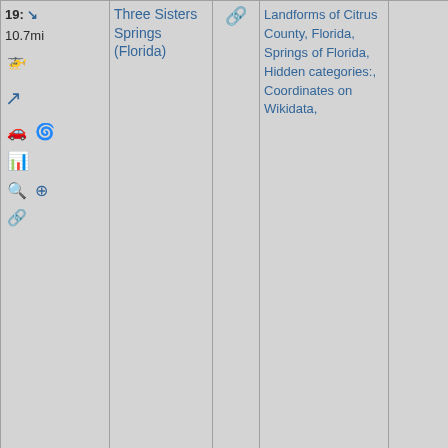| #/Dist/Icons | Name | Link | Categories | Photo |
| --- | --- | --- | --- | --- |
| 19: ↘ 10.7mi [helicopter][turn][car][spiral][chart][search][plus][link] | Three Sisters Springs (Florida) | 🔗 | Landforms of Citrus County, Florida, Springs of Florida, Hidden categories:, Coordinates on Wikidata. |  |
| 20: ↗ 12mi [helicopter][turn] | Dunnellon Boomtown Historic... | 🔗 | Historic districts in Florida, National Register... | [photo] |